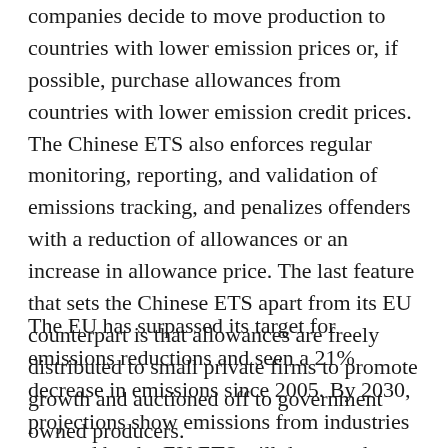companies decide to move production to countries with lower emission prices or, if possible, purchase allowances from countries with lower emission credit prices. The Chinese ETS also enforces regular monitoring, reporting, and validation of emissions tracking, and penalizes offenders with a reduction of allowances or an increase in allowance price. The last feature that sets the Chinese ETS apart from its EU counterpart is that allowances are freely distributed to small private firms to promote growth and auctioned off to government owned producers.
The EU has surpassed its target for emissions reductions and seen a 21% decrease in emissions since 2005. By 2030, projections show emissions from industries covered by the EU ETS will decrease by 43% compared to 2005. This is in stark contrast to the US system which is made up of two disjointed initiatives